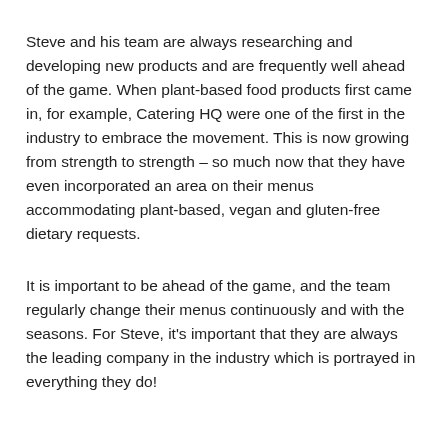Steve and his team are always researching and developing new products and are frequently well ahead of the game. When plant-based food products first came in, for example, Catering HQ were one of the first in the industry to embrace the movement. This is now growing from strength to strength – so much now that they have even incorporated an area on their menus accommodating plant-based, vegan and gluten-free dietary requests.
It is important to be ahead of the game, and the team regularly change their menus continuously and with the seasons. For Steve, it's important that they are always the leading company in the industry which is portrayed in everything they do!